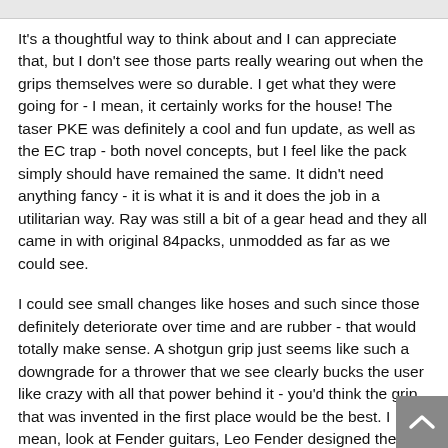It's a thoughtful way to think about and I can appreciate that, but I don't see those parts really wearing out when the grips themselves were so durable. I get what they were going for - I mean, it certainly works for the house! The taser PKE was definitely a cool and fun update, as well as the EC trap - both novel concepts, but I feel like the pack simply should have remained the same. It didn't need anything fancy - it is what it is and it does the job in a utilitarian way. Ray was still a bit of a gear head and they all came in with original 84packs, unmodded as far as we could see.
I could see small changes like hoses and such since those definitely deteriorate over time and are rubber - that would totally make sense. A shotgun grip just seems like such a downgrade for a thrower that we see clearly bucks the user like crazy with all that power behind it - you'd think the grip that was invented in the first place would be the best. I mean, look at Fender guitars, Leo Fender designed the Telecaster in 1950 and the Stratocaster in 1954 by a guy who was total tinkerer and couldn't even play the instruments.